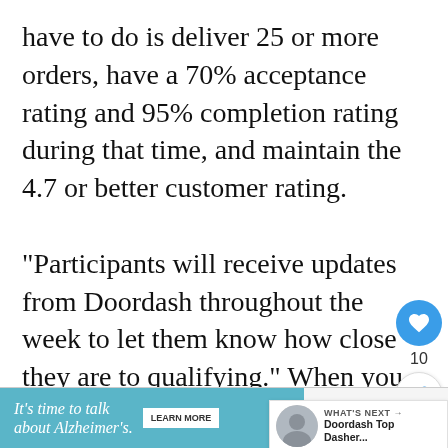have to do is deliver 25 or more orders, have a 70% acceptance rating and 95% completion rating during that time, and maintain the 4.7 or better customer rating.
“Participants will receive updates from Doordash throughout the week to let them know how close they are to qualifying.” When you combine th what they said in the in-app message
[Figure (screenshot): UI sidebar with heart/like button showing count of 10 and a share button]
[Figure (screenshot): What's Next widget showing Doordash Top Dasher thumbnail and label]
[Figure (infographic): Advertisement banner: It's time to talk about Alzheimer's. with Learn More button and Alzheimer's Association logo]